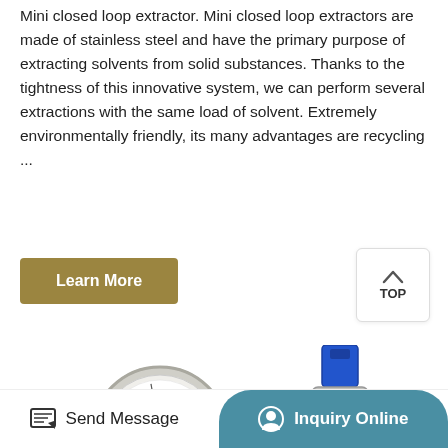Mini closed loop extractor. Mini closed loop extractors are made of stainless steel and have the primary purpose of extracting solvents from solid substances. Thanks to the tightness of this innovative system, we can perform several extractions with the same load of solvent. Extremely environmentally friendly, its many advantages are recycling ...
Learn More
TOP
[Figure (photo): Photo of a pressure gauge (round dial with needle) and a blue-handled ball valve with stainless steel fittings, components for a closed loop extractor system.]
Send Message
Inquiry Online